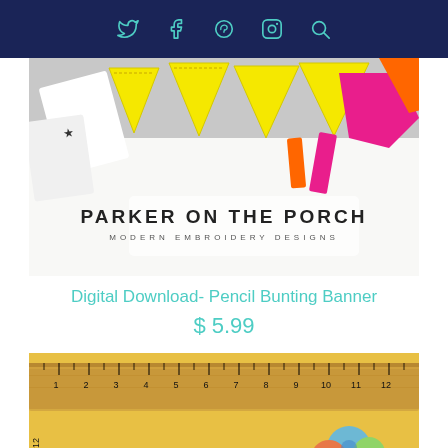Navigation bar with social icons: Twitter, Facebook, Pinterest, Instagram, Search
[Figure (photo): Parker on the Porch - Modern Embroidery Designs product photo showing colorful fabric bunting pennants with yellow triangles, pink and orange fabric pieces, and scissors]
Digital Download- Pencil Bunting Banner
$ 5.99
[Figure (photo): Close-up photo of a wooden ruler on a yellow background with colorful fabric embroidery pieces]